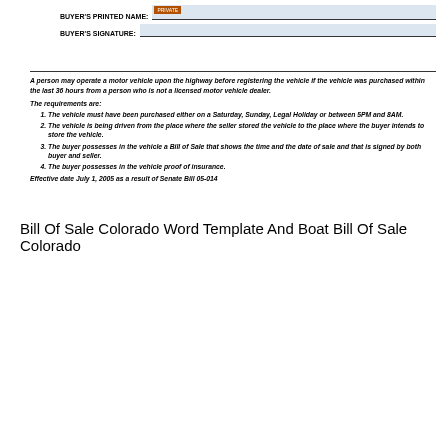BUYER'S PRINTED NAME: [PRIVATE]
BUYER'S SIGNATURE:
A person may operate a motor vehicle upon the highway before registering the vehicle if the vehicle was purchased within the last 36 hours from a person who is not a licensed motor vehicle dealer.
The requirements are:
1. The vehicle must have been purchased either on a Saturday, Sunday, Legal Holiday or between 5PM and 8AM.
2. The vehicle is being driven from the place where the seller stored the vehicle to the place where the buyer intends to store the vehicle.
3. The buyer possesses in the vehicle a Bill of Sale that shows the time and the date of sale and that is signed by both buyer and seller.
4. The buyer possesses in the vehicle proof of insurance.
Effective date July 1, 2005 as a result of Senate Bill 05-014
Bill Of Sale Colorado Word Template And Boat Bill Of Sale Colorado